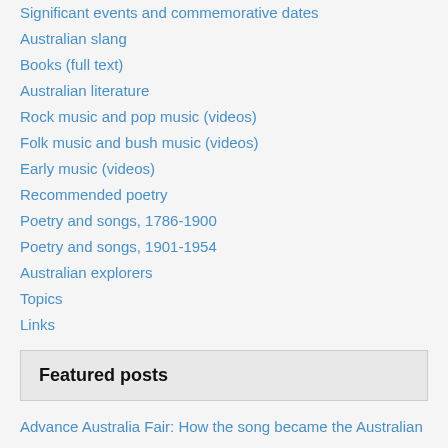Significant events and commemorative dates
Australian slang
Books (full text)
Australian literature
Rock music and pop music (videos)
Folk music and bush music (videos)
Early music (videos)
Recommended poetry
Poetry and songs, 1786-1900
Poetry and songs, 1901-1954
Australian explorers
Topics
Links
Featured posts
Advance Australia Fair: How the song became the Australian